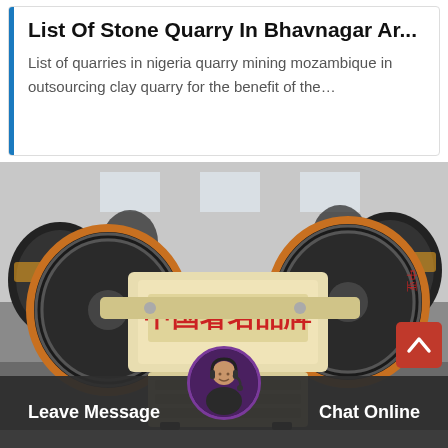List Of Stone Quarry In Bhavnagar Ar...
List of quarries in nigeria quarry mining mozambique in outsourcing clay quarry for the benefit of the…
[Figure (photo): Industrial jaw crusher / stone crushing machine with large black flywheels, beige/cream colored body with Chinese text '中国著名品牌' (Famous Chinese Brand) displayed on the side. Multiple similar machines visible in the background in a factory/warehouse setting.]
Leave Message   Chat Online